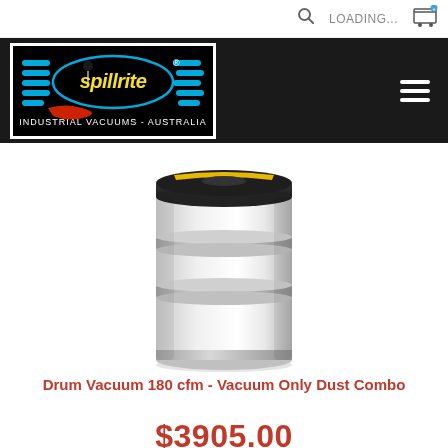LOADING...
[Figure (logo): Spillrite Industrial Vacuums - Australia logo in a black bordered box with colorful text and decorative elements]
[Figure (photo): White industrial drum vacuum canister with black lid/motor top, horizontal ribbing bands around the barrel, shown on white background]
Drum Vacuum 180 cfm - Vacuum Only Dust Combo
$3905.00